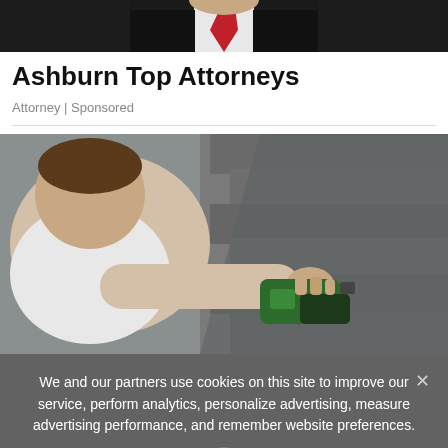[Figure (photo): Top portion of a person in a suit with a red tie against a dark background]
Ashburn Top Attorneys
Attorney | Sponsored
[Figure (photo): A man working on a roof with a power tool/drill on roofing shingles]
We and our partners use cookies on this site to improve our service, perform analytics, personalize advertising, measure advertising performance, and remember website preferences.